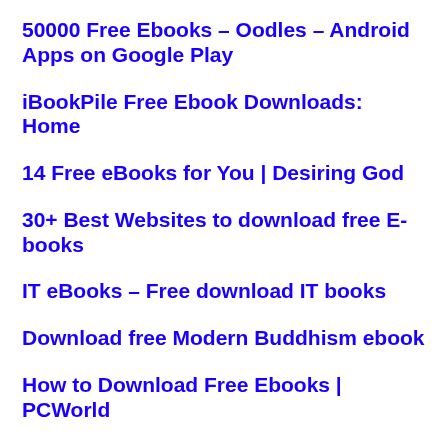50000 Free Ebooks – Oodles – Android Apps on Google Play
iBookPile Free Ebook Downloads: Home
14 Free eBooks for You | Desiring God
30+ Best Websites to download free E-books
IT eBooks – Free download IT books
Download free Modern Buddhism ebook
How to Download Free Ebooks | PCWorld